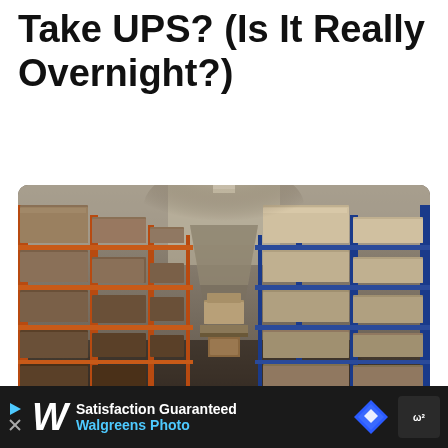Take UPS? (Is It Really Overnight?)
[Figure (photo): Warehouse interior showing long aisles of shelving units stacked high with cardboard boxes on orange metal racks, with a pallet loader visible in the center aisle.]
One of the latest and greatest developments in the modern shipping in...ackage